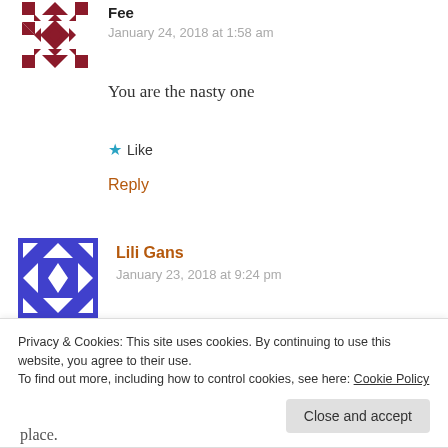[Figure (illustration): Avatar image for user Fee - geometric quilt pattern in dark red/maroon colors]
Fee
January 24, 2018 at 1:58 am
You are the nasty one
★ Like
Reply
[Figure (illustration): Avatar image for user Lili Gans - geometric quilt pattern in blue/purple colors]
Lili Gans
January 23, 2018 at 9:24 pm
In response to Naire's comment above, I
place.
Privacy & Cookies: This site uses cookies. By continuing to use this website, you agree to their use.
To find out more, including how to control cookies, see here: Cookie Policy
Close and accept